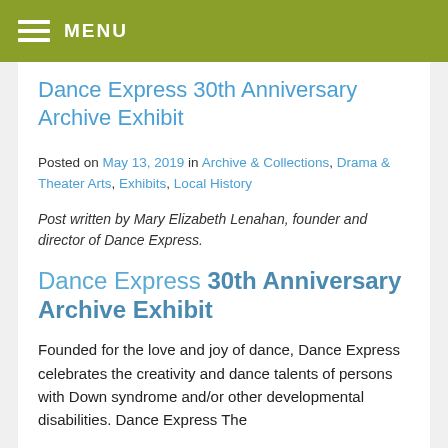MENU
Dance Express 30th Anniversary Archive Exhibit
Posted on May 13, 2019 in Archive & Collections, Drama & Theater Arts, Exhibits, Local History
Post written by Mary Elizabeth Lenahan, founder and director of Dance Express.
Dance Express 30th Anniversary Archive Exhibit
Founded for the love and joy of dance, Dance Express celebrates the creativity and dance talents of persons with Down syndrome and/or other developmental disabilities. Dance Express The...